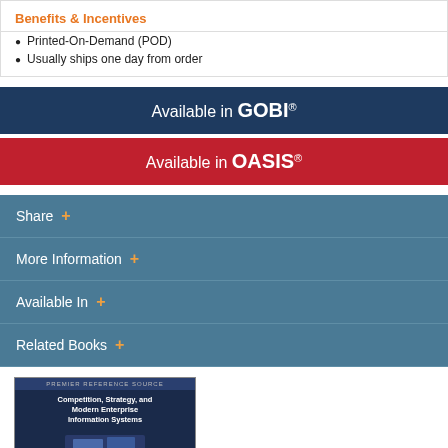Benefits & Incentives
Printed-On-Demand (POD)
Usually ships one day from order
Available in GOBI®
Available in OASIS®
Share
More Information
Available In
Related Books
[Figure (illustration): Book cover thumbnail for 'Competition, Strategy, and Modern Enterprise Information Systems' — Premier Reference Source, dark blue cover with partial image]